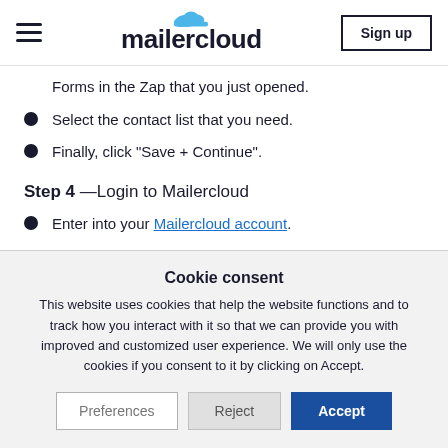mailercloud — Sign up
Forms in the Zap that you just opened.
Select the contact list that you need.
Finally, click "Save + Continue".
Step 4 —Login to Mailercloud
Enter into your Mailercloud account.
Cookie consent
This website uses cookies that help the website functions and to track how you interact with it so that we can provide you with improved and customized user experience. We will only use the cookies if you consent to it by clicking on Accept.